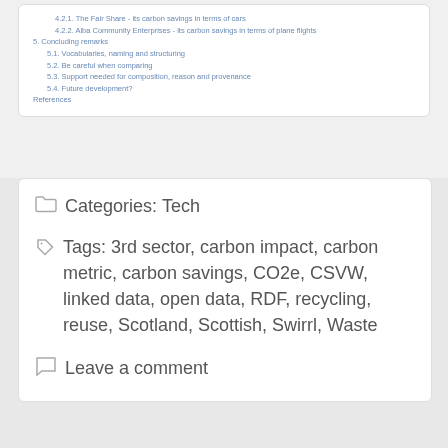4.2.1. The Fair Share - its carbon savings in terms of cars
4.2.2. Alba Community Enterprises - its carbon savings in terms of plane flights
5. Concluding remarks
5.1. Vocabularies, naming and structuring
5.2. Be careful when comparing
5.3. Support needed for composition, reason and provenance
5.4. Future development?
References
Categories: Tech
Tags: 3rd sector, carbon impact, carbon metric, carbon savings, CO2e, CSVW, linked data, open data, RDF, recycling, reuse, Scotland, Scottish, Swirrl, Waste
Leave a comment